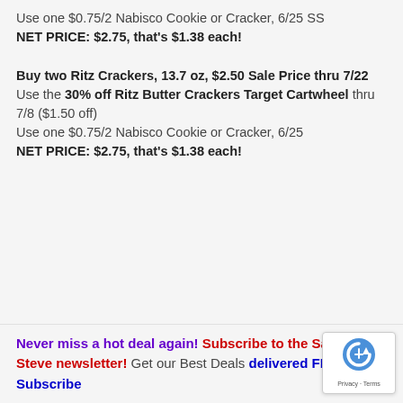Use one $0.75/2 Nabisco Cookie or Cracker, 6/25 SS
NET PRICE: $2.75, that's $1.38 each!
Buy two Ritz Crackers, 13.7 oz, $2.50 Sale Price thru 7/22
Use the 30% off Ritz Butter Crackers Target Cartwheel thru 7/8 ($1.50 off)
Use one $0.75/2 Nabisco Cookie or Cracker, 6/25
NET PRICE: $2.75, that's $1.38 each!
Never miss a hot deal again! Subscribe to the Savings By Steve newsletter! Get our Best Deals delivered FREE - Subscribe